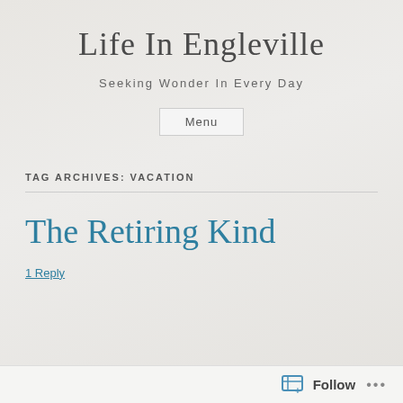Life In Engleville
Seeking Wonder In Every Day
Menu
TAG ARCHIVES: VACATION
The Retiring Kind
1 Reply
Follow ...